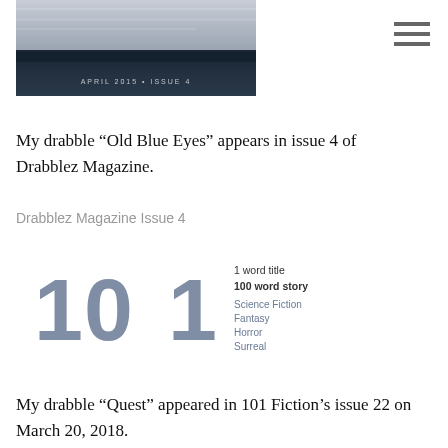[Figure (photo): Aerial/landscape photograph of mountains and sky, dark tones, with text overlay reading 'APRIL 2015 • ISSUE 4']
My drabble “Old Blue Eyes” appears in issue 4 of Drabblez Magazine.
Drabblez Magazine Issue 4
[Figure (logo): 101 Fiction logo: large '101' numerals in slate blue, with 'FICTION' written vertically in the '1', and text '1 word title / 100 word story / Science Fiction / Fantasy / Horror / Surreal']
My drabble “Quest” appeared in 101 Fiction’s issue 22 on March 20, 2018.